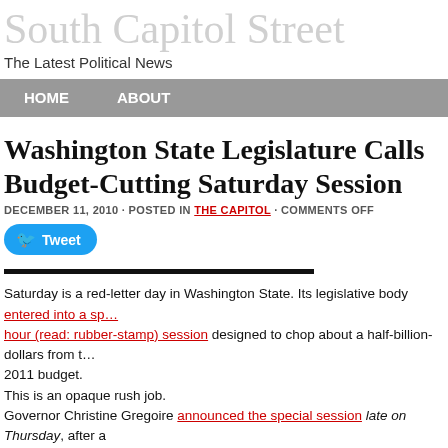South Capitol Street
The Latest Political News
HOME   ABOUT
Washington State Legislature Calls Budget-Cutting Saturday Session
DECEMBER 11, 2010 · POSTED IN THE CAPITOL · COMMENTS OFF
[Figure (other): Twitter Tweet button]
Saturday is a red-letter day in Washington State. Its legislative body entered into a special one-hour (read: rubber-stamp) session designed to chop about a half-billion-dollars from the 2011 budget.
This is an opaque rush job.
Governor Christine Gregoire announced the special session late on Thursday, after a closed-door session with legislative leaders. Gregoire asserted that the bipartisan group of leaders had agreed to "about $594 million in savings."